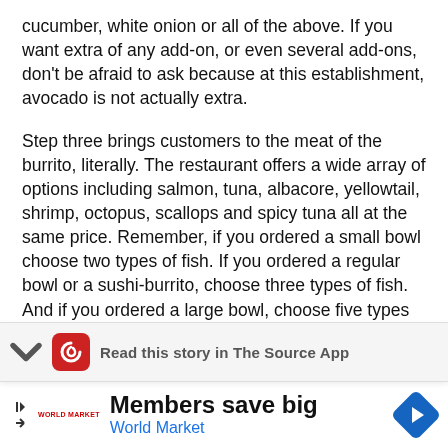cucumber, white onion or all of the above. If you want extra of any add-on, or even several add-ons, don't be afraid to ask because at this establishment, avocado is not actually extra.
Step three brings customers to the meat of the burrito, literally. The restaurant offers a wide array of options including salmon, tuna, albacore, yellowtail, shrimp, octopus, scallops and spicy tuna all at the same price. Remember, if you ordered a small bowl choose two types of fish. If you ordered a regular bowl or a sushi-burrito, choose three types of fish. And if you ordered a large bowl, choose five types of
[Figure (screenshot): App banner with chevron down icon, red app icon with white swirl, and bold text 'Read this story in The Source App']
[Figure (screenshot): Advertisement banner for World Market. Left side shows skip arrows, World Market logo text in red, center shows 'Members save big' headline and 'World Market' in blue, right shows a blue diamond navigation arrow icon.]